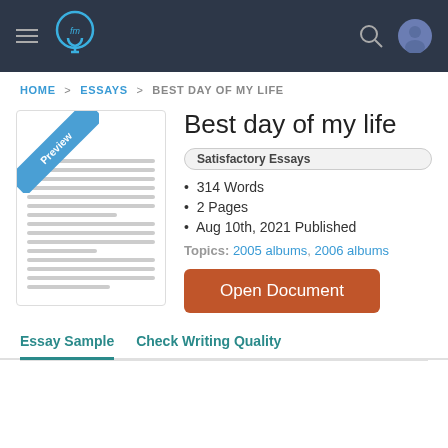[Figure (screenshot): Navigation bar with hamburger menu, lightbulb logo, search icon, and user avatar icon on dark background]
HOME > ESSAYS > BEST DAY OF MY LIFE
Best day of my life
Satisfactory Essays
314 Words
2 Pages
Aug 10th, 2021 Published
Topics: 2005 albums, 2006 albums
Open Document
Essay Sample   Check Writing Quality